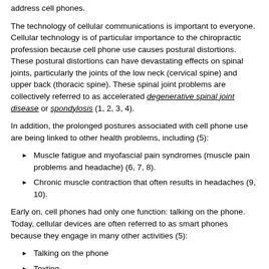address cell phones.
The technology of cellular communications is important to everyone. Cellular technology is of particular importance to the chiropractic profession because cell phone use causes postural distortions. These postural distortions can have devastating effects on spinal joints, particularly the joints of the low neck (cervical spine) and upper back (thoracic spine). These spinal joint problems are collectively referred to as accelerated degenerative spinal joint disease or spondylosis (1, 2, 3, 4).
In addition, the prolonged postures associated with cell phone use are being linked to other health problems, including (5):
Muscle fatigue and myofascial pain syndromes (muscle pain problems and headache) (6, 7, 8).
Chronic muscle contraction that often results in headaches (9, 10).
Early on, cell phones had only one function: talking on the phone. Today, cellular devices are often referred to as smart phones because they engage in many other activities (5):
Talking on the phone
Texting